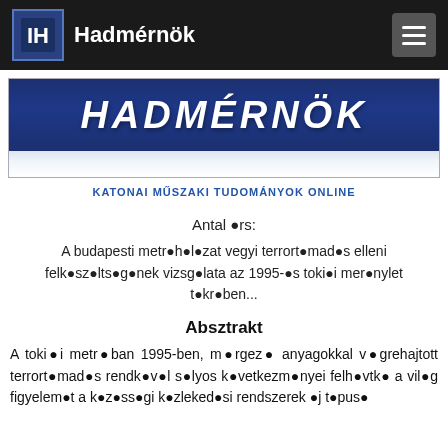Hadmérnök
[Figure (logo): Hadmérnök website banner with dark blue background and white bold italic text reading HADMÉRNÖK, with a reflection below]
KATONAI MŰSZAKI TUDOMÁNYOK ONLINE
Antal Örs:
A budapesti metróhálózat vegyi terrortámadás elleni felkészültségének vizsgálata az 1995-ös tokiói merénylet tükrében...
Absztrakt
A tokiói metróban 1995-ben, mérgező anyagokkal végrehajtott terrortámadás rendkívül súlyos következményei felhívták a világ figyelmét a közösségi közlekedési rendszerek új típusú